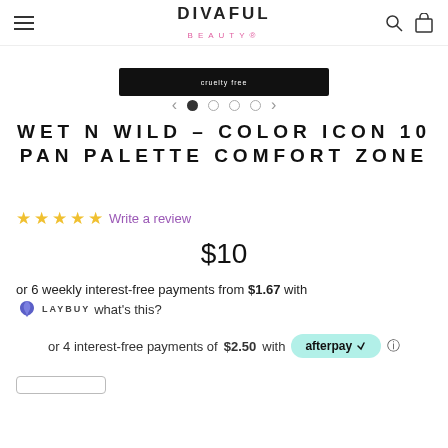DIVAFUL BEAUTY
[Figure (photo): Product image strip showing Wet N Wild Color Icon 10 Pan Palette Comfort Zone packaging, black compact]
[Figure (other): Carousel navigation dots (4 dots, first filled) with left and right arrows]
WET N WILD – COLOR ICON 10 PAN PALETTE COMFORT ZONE
☆☆☆☆☆ Write a review
$10
or 6 weekly interest-free payments from $1.67 with LAYBUY what's this?
or 4 interest-free payments of $2.50 with afterpay